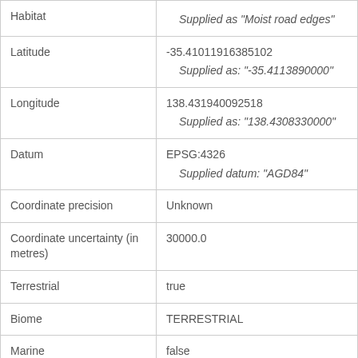| Field | Value |
| --- | --- |
| Habitat | Supplied as "Moist road edges" |
| Latitude | -35.41011916385102
Supplied as: "-35.4113890000" |
| Longitude | 138.431940092518
Supplied as: "138.4308330000" |
| Datum | EPSG:4326
Supplied datum: "AGD84" |
| Coordinate precision | Unknown |
| Coordinate uncertainty (in metres) | 30000.0 |
| Terrestrial | true |
| Biome | TERRESTRIAL |
| Marine | false |
| Country Code | AU |